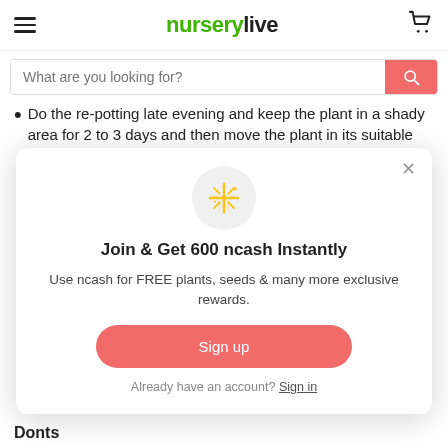nurserylive
Do the re-potting late evening and keep the plant in a shady area for 2 to 3 days and then move the plant in its suitable
[Figure (screenshot): Modal popup with sparkle icon, join message, sign up button and sign in link]
Donts